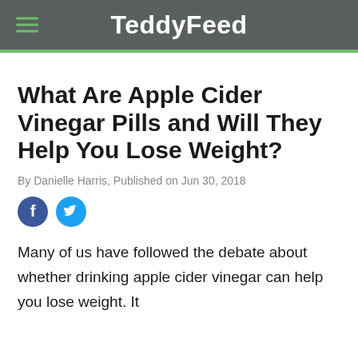TeddyFeed
What Are Apple Cider Vinegar Pills and Will They Help You Lose Weight?
By Danielle Harris, Published on Jun 30, 2018
[Figure (other): Social share icons: Facebook and Twitter circular buttons]
Many of us have followed the debate about whether drinking apple cider vinegar can help you lose weight. It